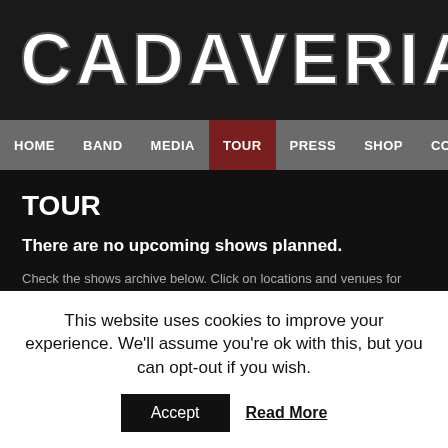[Figure (screenshot): Band header image with dark background and large text 'CADAVERIA O']
HOME  BAND  MEDIA  TOUR  PRESS  SHOP  CONT
TOUR
There are no upcoming shows planned.
Check the shows archive below. Click on locations and venues for more info abou
| 2017 | Location | Venue |
| --- | --- | --- |
| 28.12.2017 | Italy, Marcellinara (CZ) | Calabrian Metal |
This website uses cookies to improve your experience. We'll assume you're ok with this, but you can opt-out if you wish.
Accept  Read More